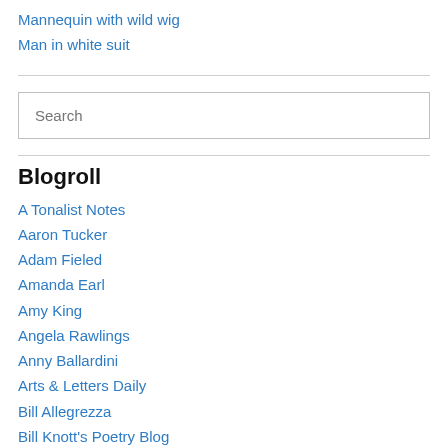Mannequin with wild wig
Man in white suit
Search
Blogroll
A Tonalist Notes
Aaron Tucker
Adam Fieled
Amanda Earl
Amy King
Angela Rawlings
Anny Ballardini
Arts & Letters Daily
Bill Allegrezza
Bill Knott's Poetry Blog